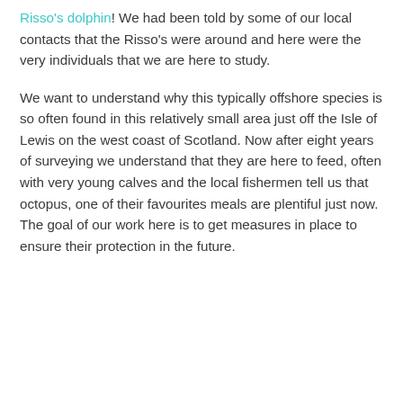Risso's dolphin! We had been told by some of our local contacts that the Risso's were around and here were the very individuals that we are here to study.
We want to understand why this typically offshore species is so often found in this relatively small area just off the Isle of Lewis on the west coast of Scotland. Now after eight years of surveying we understand that they are here to feed, often with very young calves and the local fishermen tell us that octopus, one of their favourites meals are plentiful just now. The goal of our work here is to get measures in place to ensure their protection in the future.